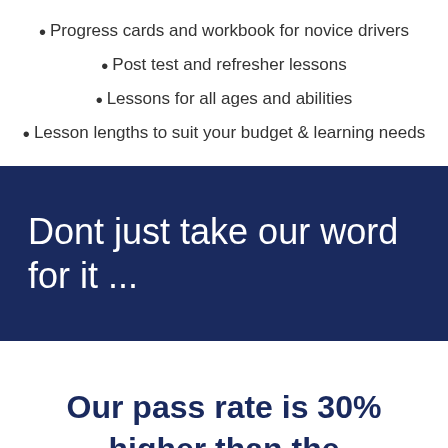Progress cards and workbook for novice drivers
Post test and refresher lessons
Lessons for all ages and abilities
Lesson lengths to suit your budget & learning needs
Dont just take our word for it ...
Our pass rate is 30% higher than the